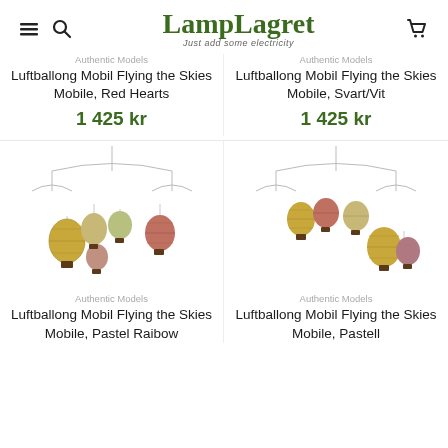LampLagret — Just add some electricity
Authentic Models
Luftballong Mobil Flying the Skies Mobile, Red Hearts
1 425 kr
Authentic Models
Luftballong Mobil Flying the Skies Mobile, Svart/Vit
1 425 kr
[Figure (illustration): Hot air balloon mobile with multiple colorful balloons in pastel/warm tones, suspended from a wire frame structure]
[Figure (illustration): Hot air balloon mobile with multiple colorful balloons in warm tones, suspended from a wire frame structure]
Authentic Models
Luftballong Mobil Flying the Skies Mobile, Pastel Raibow
Authentic Models
Luftballong Mobil Flying the Skies Mobile, Pastell